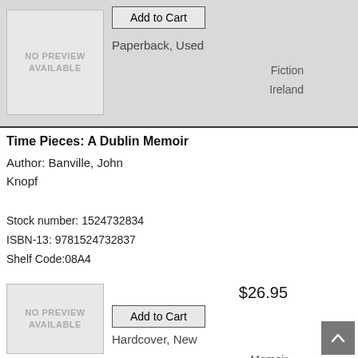[Figure (other): Book listing card with no preview image, Add to Cart button, format: Paperback Used, genres: Fiction, Ireland]
Time Pieces: A Dublin Memoir
Author: Banville, John
Knopf
Stock number: 1524732834
ISBN-13: 9781524732837
Shelf Code:08A4
[Figure (other): Book listing card with no preview image, price $26.95, Add to Cart button, format: Hardcover New, genres: Memoir, Ireland]